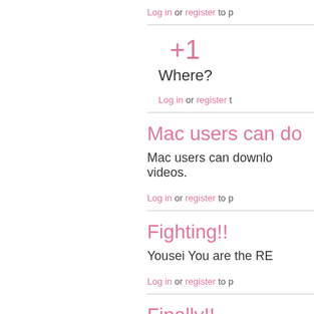Log in or register to p
+1
Where?
Log in or register t
Mac users can do
Mac users can downl videos.
Log in or register to p
Fighting!!
Yousei You are the RE
Log in or register to p
Finally!!